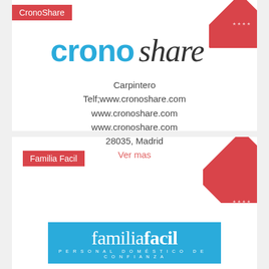CronoShare
[Figure (logo): CronoShare logo with 'crono' in cyan and 'share' in dark grey, large stylized text]
Carpintero
Telf;www.cronoshare.com
www.cronoshare.com
www.cronoshare.com
28035, Madrid
Ver mas
Familia Facil
[Figure (logo): familiafacil logo on blue background with subtitle 'Personal doméstico de confianza']